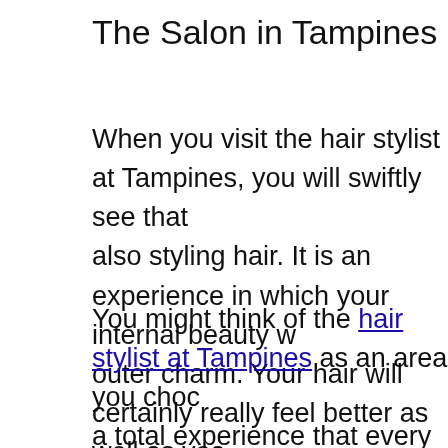The Salon in Tampines Provides More Tha
When you visit the hair stylist at Tampines, you will swiftly see that also styling hair. It is an experience in which your internal beauty w outer charm. Your hair will certainly really feel better as well as yea removed from it. Your hair will become much more convenient. Yo kinky hair days. You can have a standard haircut, a small trim, or t actually always wanted, however felt you couldn't have.
You might think of the hair stylist at Tampines as an area you choc a total experience that every female must have the deluxe of relish and also assist you have the hair that you have desired your entire birthed with. You can select to have hair that is more colorful, curli between. At this beauty salon, it is everything about you, the fema absolute best.
You might really feel that you do not need to have a transformation well as men, have remodelings for a variety of reasons. A brand-n additional self-confidence when you go in for a task meeting. It mig when you head out on a warm date with your partner. It can be m